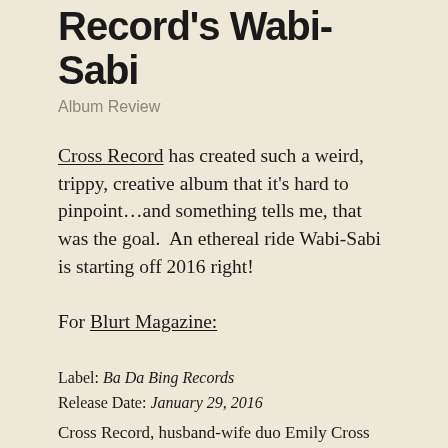Record's Wabi-Sabi
Album Review
Cross Record has created such a weird, trippy, creative album that it's hard to pinpoint…and something tells me, that was the goal.  An ethereal ride Wabi-Sabi is starting off 2016 right!
For Blurt Magazine:
Label: Ba Da Bing Records
Release Date: January 29, 2016
Cross Record, husband-wife duo Emily Cross and Dan Duszynski, returns with their second album; following their 2013 debut #Be Good#, Wabi-Sabi continues in the same vein of hauntingly serene soundscapes. Cross' airy, wispy vocals,